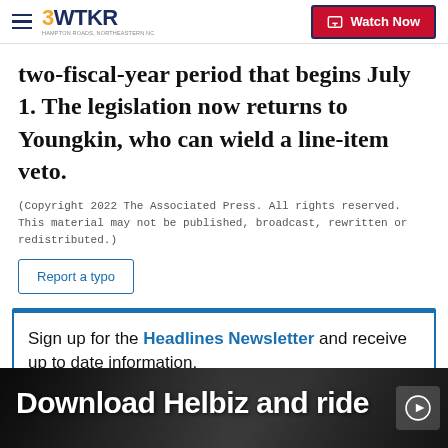3WTKR | Watch Now
two-fiscal-year period that begins July 1. The legislation now returns to Youngkin, who can wield a line-item veto.
(Copyright 2022 The Associated Press. All rights reserved. This material may not be published, broadcast, rewritten or redistributed.)
Report a typo
Sign up for the Headlines Newsletter and receive up to date information.
E-mail
[Figure (screenshot): Download Helbiz and ride - advertisement banner at the bottom of the page showing a person with a scooter/bike]
Download Helbiz and ride